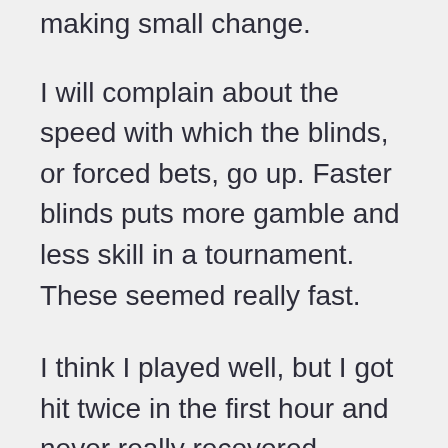making small change.
I will complain about the speed with which the blinds, or forced bets, go up. Faster blinds puts more gamble and less skill in a tournament. These seemed really fast.
I think I played well, but I got hit twice in the first hour and never really recovered. Someone else took home my $45. I'm not at all upset.
The format and chips used in a